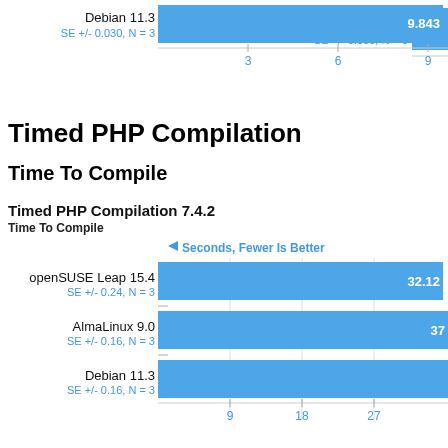[Figure (bar-chart): Top chart fragment (Debian 11.3)]
Timed PHP Compilation
Time To Compile
[Figure (bar-chart): Timed PHP Compilation 7.4.2]